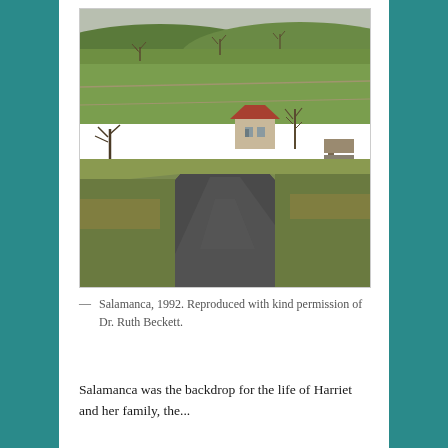[Figure (photo): A rural country road winding toward a farmhouse set among green rolling hills with bare winter trees, taken in 1992 at Salamanca.]
— Salamanca, 1992. Reproduced with kind permission of Dr. Ruth Beckett.
Salamanca was the backdrop for the life of Harriet and her family, the...